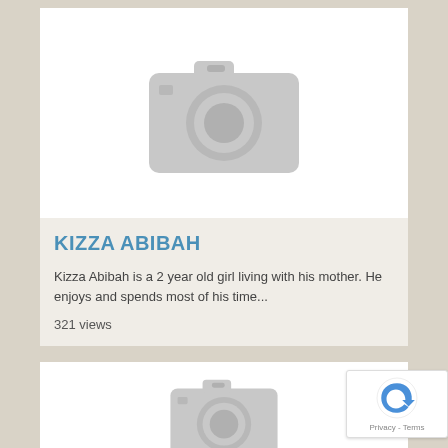[Figure (photo): Placeholder image card with grey camera icon on white background - first card for Kizza Abibah]
KIZZA ABIBAH
Kizza Abibah is a 2 year old girl living with his mother. He enjoys and spends most of his time...
321 views
[Figure (photo): Placeholder image card with grey camera icon on white background - second card partially visible]
[Figure (other): reCAPTCHA privacy badge with circular arrow icon and Privacy - Terms text]